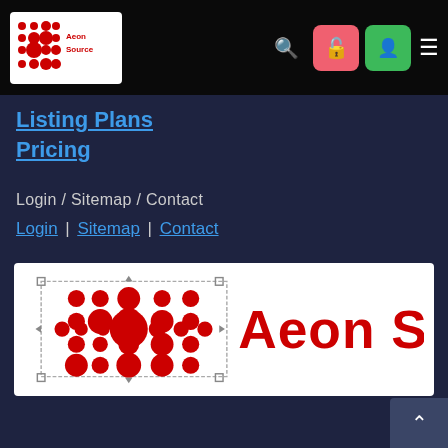[Figure (logo): Aeon Source logo in navbar - small red grid icon with 'Aeon Source' text on white background]
Listing Plans
Pricing
Login / Sitemap / Contact
Login | Sitemap | Contact
[Figure (logo): Large Aeon Source logo on white background - red circular grid pattern icon on left, red 'Aeon Source' stylized text on right]